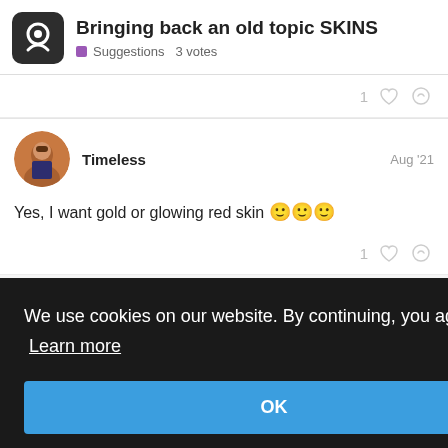Bringing back an old topic SKINS — Suggestions 3 votes
1 [like] [link]
Timeless — Aug '21
Yes, I want gold or glowing red skin 🙂🙂🙂
1 [like] [link]
Oct '21
We use cookies on our website. By continuing, you agree to this. Learn more
OK
2 [like] [link]